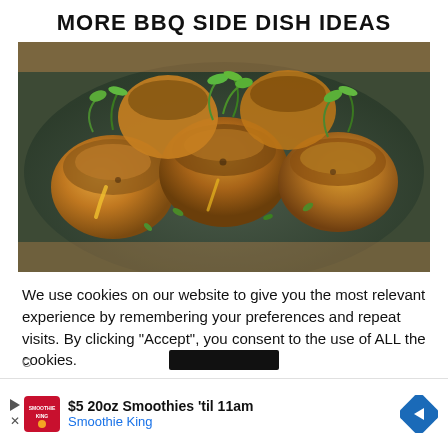MORE BBQ SIDE DISH IDEAS
[Figure (photo): Overhead close-up photo of stuffed roasted potatoes topped with herbs and greens on a dark plate]
We use cookies on our website to give you the most relevant experience by remembering your preferences and repeat visits. By clicking “Accept”, you consent to the use of ALL the cookies.
Do not sell my personal information.
[Figure (other): Advertisement banner: $5 20oz Smoothies 'til 11am — Smoothie King, with logo and navigation arrow icon]